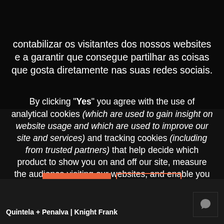contabilizar os visitantes dos nossos websites e a garantir que consegue partilhar as coisas que gosta diretamente nas suas redes sociais.
By clicking "Yes" you agree with the use of analytical cookies (which are used to gain insight on website usage and which are used to improve our site and services) and tracking cookies (including from trusted partners) that help decide which product to show you on and off our site, measure the audience visiting our websites, and enable you to like or share things directly on social media.
SIM/YES
NÃO/NO
Quintela + Penalva | Knight Frank